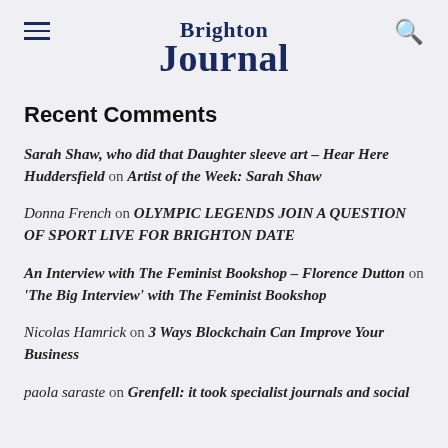Brighton Journal
Recent Comments
Sarah Shaw, who did that Daughter sleeve art – Hear Here Huddersfield on Artist of the Week: Sarah Shaw
Donna French on OLYMPIC LEGENDS JOIN A QUESTION OF SPORT LIVE FOR BRIGHTON DATE
An Interview with The Feminist Bookshop – Florence Dutton on 'The Big Interview' with The Feminist Bookshop
Nicolas Hamrick on 3 Ways Blockchain Can Improve Your Business
paola saraste on Grenfell: it took specialist journals and social